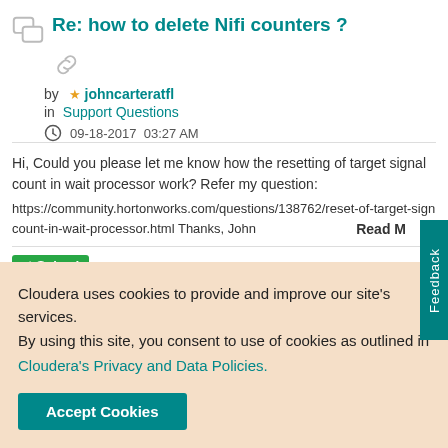Re: how to delete Nifi counters ?
by johncarteratfl in Support Questions 09-18-2017 03:27 AM
Hi, Could you please let me know how the resetting of target signal count in wait processor work? Refer my question: https://community.hortonworks.com/questions/138762/reset-of-target-sign count-in-wait-processor.html Thanks, John Read M
✓ Solved
Reset of Target Signal Count in Wait Processor
Cloudera uses cookies to provide and improve our site's services. By using this site, you consent to use of cookies as outlined in Cloudera's Privacy and Data Policies.
Accept Cookies